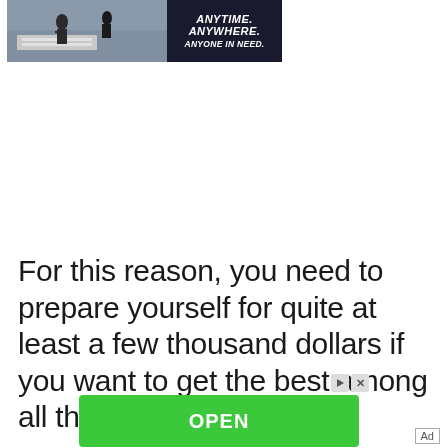[Figure (photo): Top banner advertisement showing people unloading cargo at an airport with text ANYTIME. ANYWHERE. ANYONE IN NEED. on dark background]
For this reason, you need to prepare yourself for quite at least a few thousand dollars if you want to get the best among all the available pups, as
[Figure (other): Green OPEN button advertisement overlay with Book A Demo Today text below]